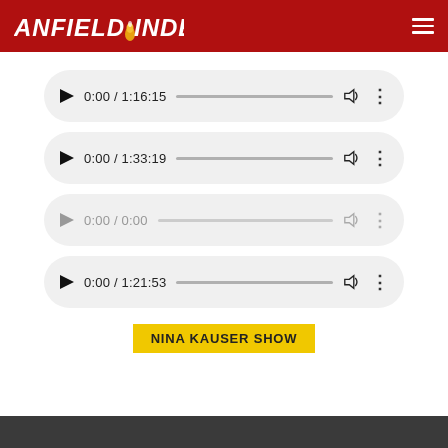ANFIELD INDEX
[Figure (screenshot): Audio player 1: 0:00 / 1:16:15]
[Figure (screenshot): Audio player 2: 0:00 / 1:33:19]
[Figure (screenshot): Audio player 3: 0:00 / 0:00 (inactive)]
[Figure (screenshot): Audio player 4: 0:00 / 1:21:53]
NINA KAUSER SHOW